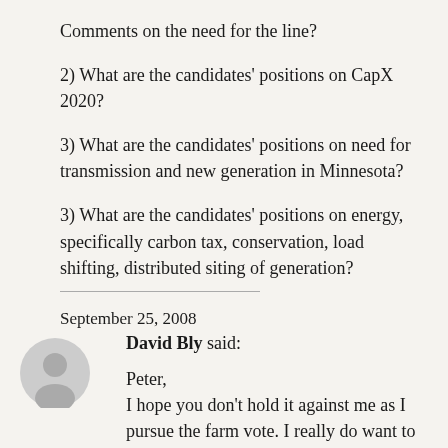Comments on the need for the line?
2) What are the candidates' positions on CapX 2020?
3) What are the candidates' positions on need for transmission and new generation in Minnesota?
3) What are the candidates' positions on energy, specifically carbon tax, conservation, load shifting, distributed siting of generation?
September 25, 2008
David Bly said:
Peter,
I hope you don't hold it against me as I pursue the farm vote. I really do want to